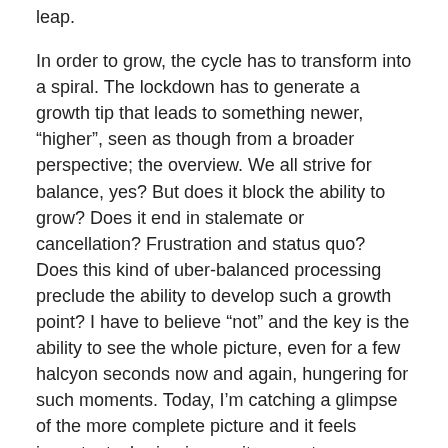leap.
In order to grow, the cycle has to transform into a spiral. The lockdown has to generate a growth tip that leads to something newer, “higher”, seen as though from a broader perspective; the overview. We all strive for balance, yes? But does it block the ability to grow? Does it end in stalemate or cancellation? Frustration and status quo? Does this kind of uber-balanced processing preclude the ability to develop such a growth point? I have to believe “not” and the key is the ability to see the whole picture, even for a few halcyon seconds now and again, hungering for such moments. Today, I’m catching a glimpse of the more complete picture and it feels important; sharing incase it resonates.
Halcyon Days